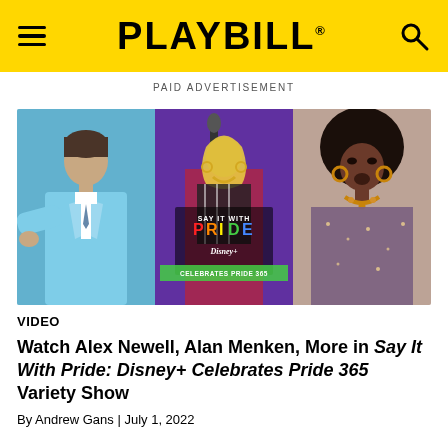PLAYBILL
PAID ADVERTISEMENT
[Figure (photo): Three-panel image strip: left panel shows a young man in a light blue suit; center panel shows a woman singing into a microphone with 'SAY IT WITH PRIDE Disney+ CELEBRATES PRIDE 365' text overlay; right panel shows a woman with a large afro singing.]
VIDEO
Watch Alex Newell, Alan Menken, More in Say It With Pride: Disney+ Celebrates Pride 365 Variety Show
By Andrew Gans | July 1, 2022